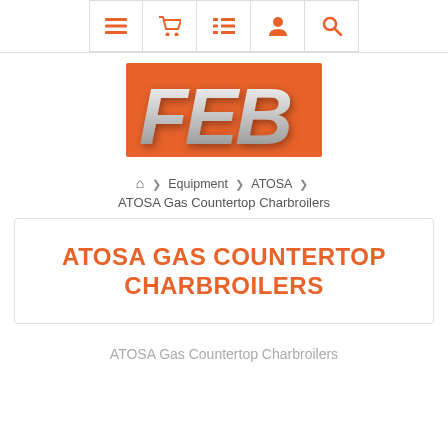Navigation bar with menu, cart, list, user, search icons
[Figure (logo): FEB logo: silver italic bold text FEB on orange background]
Home > Equipment > ATOSA > ATOSA Gas Countertop Charbroilers
ATOSA GAS COUNTERTOP CHARBROILERS
ATOSA Gas Countertop Charbroilers